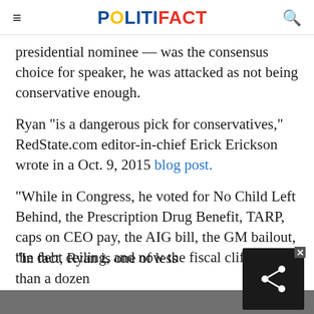POLITIFACT
presidential nominee — was the consensus choice for speaker, he was attacked as not being conservative enough.
Ryan "is a dangerous pick for conservatives," RedState.com editor-in-chief Erick Erickson wrote in a Oct. 9, 2015 blog post.
"While in Congress, he voted for No Child Left Behind, the Prescription Drug Benefit, TARP, caps on CEO pay, the AIG bill, the GM bailout, the debt ceiling, and now the fiscal cliff.
"In fact, Ryan is one of less than a dozen